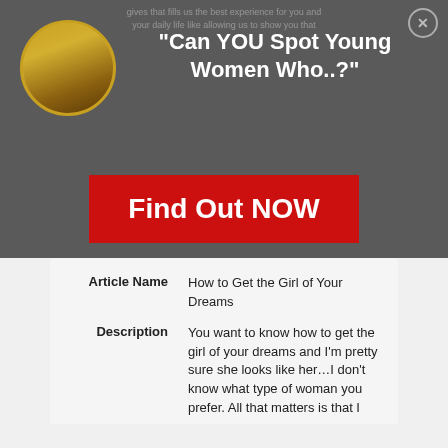"Can YOU Spot Young Women Who..?"
[Figure (illustration): Circular avatar photo of a woman with gold/yellow border, positioned top-left of the modal overlay]
Find Out NOW
| Article Name | How to Get the Girl of Your Dreams |
| Description | You want to know how to get the girl of your dreams and I'm pretty sure she looks like her…I don't know what type of woman you prefer. All that matters is that I |